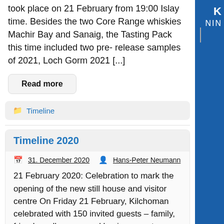took place on 21 February from 19:00 Islay time. Besides the two Core Range whiskies Machir Bay and Sanaig, the Tasting Pack this time included two pre-release samples of 2021, Loch Gorm 2021 [...]
Read more
Timeline
Timeline 2020
31. December 2020   Hans-Peter Neumann
21 February 2020: Celebration to mark the opening of the new still house and visitor centre On Friday 21 February, Kilchoman celebrated with 150 invited guests – family, friends, colleagues and business partners – the opening of the new still house and